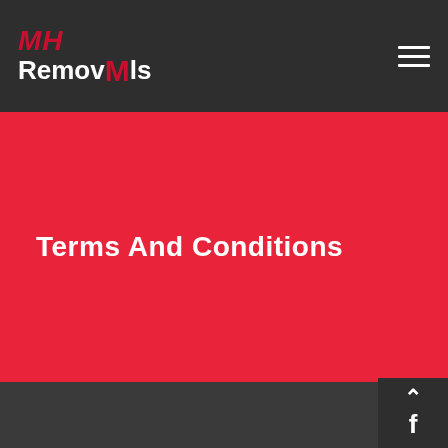MH Removals
Terms And Conditions
Terms and Conditions of